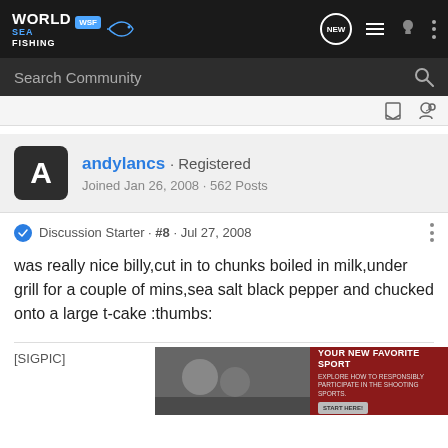World Sea Fishing WSF — navigation bar with NEW, list, user, menu icons
Search Community
andylancs · Registered
Joined Jan 26, 2008 · 562 Posts
Discussion Starter · #8 · Jul 27, 2008
was really nice billy,cut in to chunks boiled in milk,under grill for a couple of mins,sea salt black pepper and chucked onto a large t-cake :thumbs:
[Figure (photo): Advertisement banner: YOUR NEW FAVORITE SPORT — Explore how to responsibly participate in the shooting sports. START HERE!]